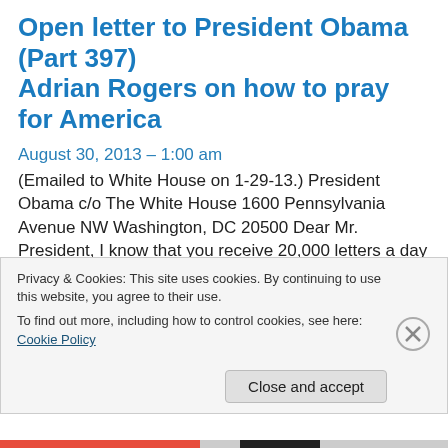Open letter to President Obama (Part 397) Adrian Rogers on how to pray for America
August 30, 2013 – 1:00 am
(Emailed to White House on 1-29-13.) President Obama c/o The White House 1600 Pennsylvania Avenue NW Washington, DC 20500 Dear Mr. President, I know that you receive 20,000 letters a day and that you actually read
Privacy & Cookies: This site uses cookies. By continuing to use this website, you agree to their use.
To find out more, including how to control cookies, see here: Cookie Policy
Close and accept